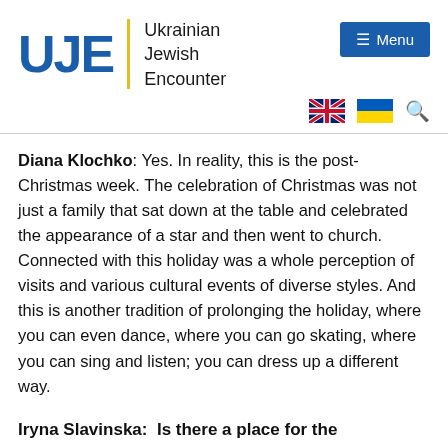[Figure (logo): UJE - Ukrainian Jewish Encounter logo with blue UJE letters, yellow vertical divider, and organization name text]
[Figure (other): Menu button (blue rectangle with hamburger icon and 'Menu' text), UK flag, Ukrainian flag, and search icon in navigation bar]
Diana Klochko: Yes. In reality, this is the post-Christmas week. The celebration of Christmas was not just a family that sat down at the table and celebrated the appearance of a star and then went to church. Connected with this holiday was a whole perception of visits and various cultural events of diverse styles. And this is another tradition of prolonging the holiday, where you can even dance, where you can go skating, where you can sing and listen; you can dress up a different way.
Iryna Slavinska:  Is there a place for the borrowings